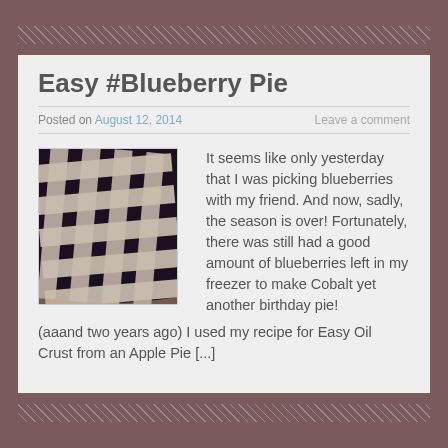Easy #Blueberry Pie
Posted on August 12, 2014   Leave a comment
[Figure (photo): Close-up photo of a blueberry pie with a lattice crust pattern, showing dark blueberry filling between white pastry strips.]
It seems like only yesterday that I was picking blueberries with my friend. And now, sadly, the season is over! Fortunately, there was still had a good amount of blueberries left in my freezer to make Cobalt yet another birthday pie! (aaand two years ago) I used my recipe for Easy Oil Crust from an Apple Pie [...]